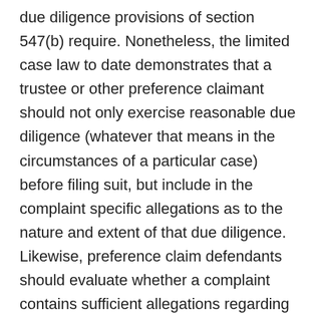due diligence provisions of section 547(b) require. Nonetheless, the limited case law to date demonstrates that a trustee or other preference claimant should not only exercise reasonable due diligence (whatever that means in the circumstances of a particular case) before filing suit, but include in the complaint specific allegations as to the nature and extent of that due diligence. Likewise, preference claim defendants should evaluate whether a complaint contains sufficient allegations regarding the trustee's due diligence and evaluation of affirmative defenses, and consider a motion to dismiss if the required allegations are absent or